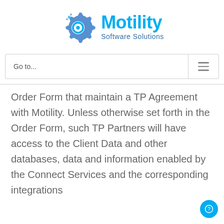[Figure (logo): Motility Software Solutions logo with gear icon and blue text]
Go to...
Order Form that maintain a TP Agreement with Motility. Unless otherwise set forth in the Order Form, such TP Partners will have access to the Client Data and other databases, data and information enabled by the Connect Services and the corresponding integrations